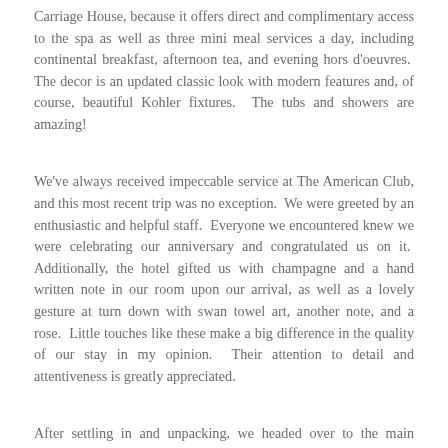Carriage House, because it offers direct and complimentary access to the spa as well as three mini meal services a day, including continental breakfast, afternoon tea, and evening hors d'oeuvres.  The decor is an updated classic look with modern features and, of course, beautiful Kohler fixtures.  The tubs and showers are amazing!
We've always received impeccable service at The American Club, and this most recent trip was no exception.  We were greeted by an enthusiastic and helpful staff.  Everyone we encountered knew we were celebrating our anniversary and congratulated us on it.  Additionally, the hotel gifted us with champagne and a hand written note in our room upon our arrival, as well as a lovely gesture at turn down with swan towel art, another note, and a rose.  Little touches like these make a big difference in the quality of our stay in my opinion.  Their attention to detail and attentiveness is greatly appreciated.
After settling in and unpacking, we headed over to the main building for dinner at The Wisconsin Room.  They host a seafood buffet every Friday evening that we have enjoyed in years past.  It's a lovely spread featuring fresh seafood, delicious salads and